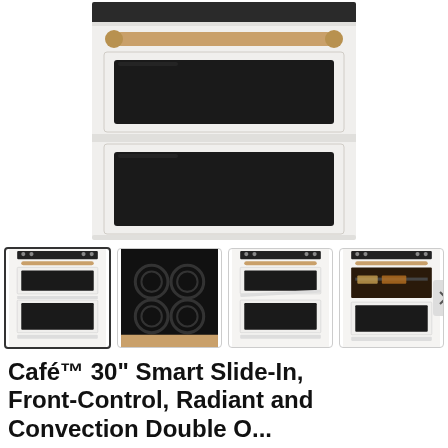[Figure (photo): Large main product photo of a Café white double oven range with brushed bronze handle, showing front view of two oven compartments with dark glass windows]
[Figure (photo): Thumbnail gallery showing 4 product images: 1) front view of white double oven range (selected/highlighted), 2) top-down view of black induction cooktop, 3) front view of double oven range with doors open, 4) interior view of oven with food cooking inside]
Café™ 30" Smart Slide-In, Front-Control, Radiant and Convection Double O...